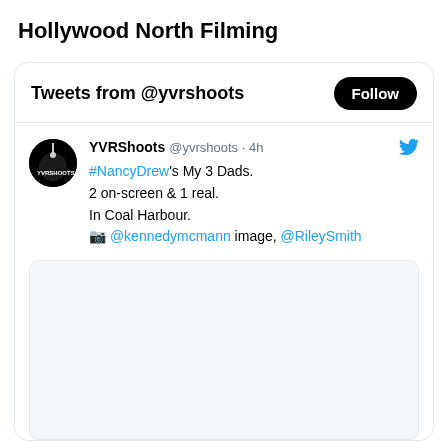Hollywood North Filming
Tweets from @yvrshoots
[Figure (screenshot): Twitter/X widget showing a tweet from @yvrshoots about #NancyDrew's My 3 Dads, 2 on-screen & 1 real, In Coal Harbour. Mentions @kennedymcmann image, @RileySmith. Includes a blank image placeholder.]